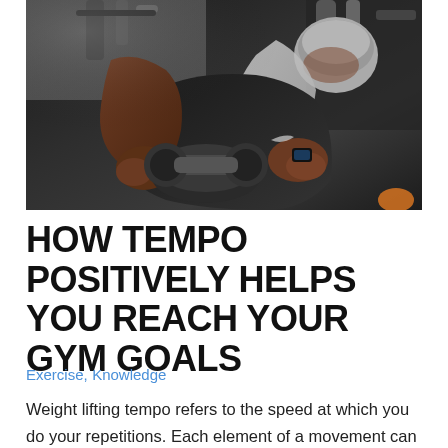[Figure (photo): A person lifting weights/dumbbells at a gym, shown from above at an angle. The subject is wearing a grey beanie and dark clothing, gripping gym equipment. Dark, moody lighting with gym machinery visible.]
HOW TEMPO POSITIVELY HELPS YOU REACH YOUR GYM GOALS
Exercise, Knowledge
Weight lifting tempo refers to the speed at which you do your repetitions. Each element of a movement can be timed, including the concentric phase where you lift the weight, the isometric phase where you pause before lowering them again t...